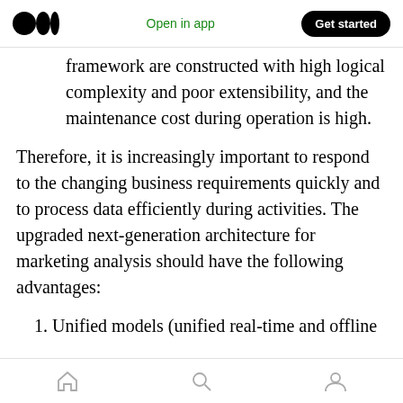Open in app  Get started
framework are constructed with high logical complexity and poor extensibility, and the maintenance cost during operation is high.
Therefore, it is increasingly important to respond to the changing business requirements quickly and to process data efficiently during activities. The upgraded next-generation architecture for marketing analysis should have the following advantages:
1. Unified models (unified real-time and offline
home  search  profile